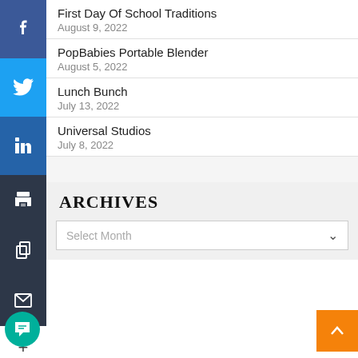First Day Of School Traditions
August 9, 2022
PopBabies Portable Blender
August 5, 2022
Lunch Bunch
July 13, 2022
Universal Studios
July 8, 2022
ARCHIVES
Select Month